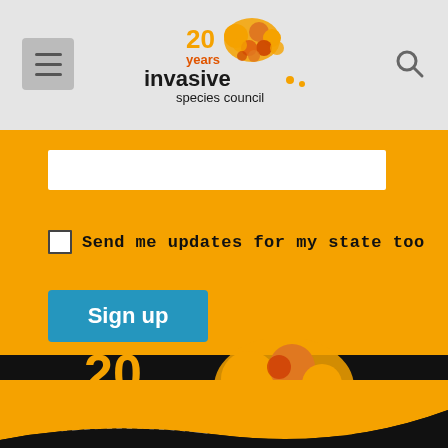[Figure (logo): Invasive Species Council 20 years logo with Australia map shape made of orange/red circles, in header navigation bar]
[Figure (screenshot): White input field for email/name entry on orange background]
Send me updates for my state too
[Figure (infographic): Sign up button in teal/blue color]
[Figure (logo): Invasive Species Council 20 years logo large version on black background footer - text in white and orange]